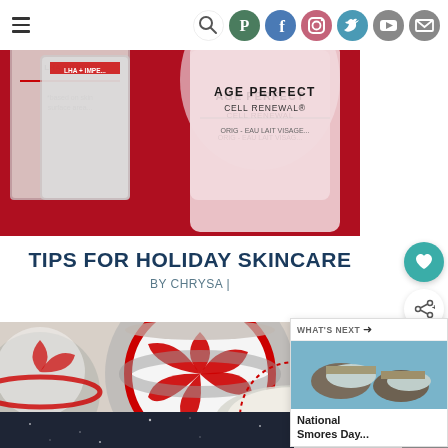Navigation header with hamburger menu and social icons: search, Pinterest, Facebook, Instagram, Twitter, YouTube, email
[Figure (photo): Close-up of L'Oreal Age Perfect Cell Renewal skincare product against red background]
TIPS FOR HOLIDAY SKINCARE
BY CHRYSA |
[Figure (photo): Overhead view of metal tins with peppermint candy swirl lids, one labeled 'Peppermint']
[Figure (photo): Dark navy/black textured background with partial logo visible bottom right]
WHAT'S NEXT → National Smores Day...